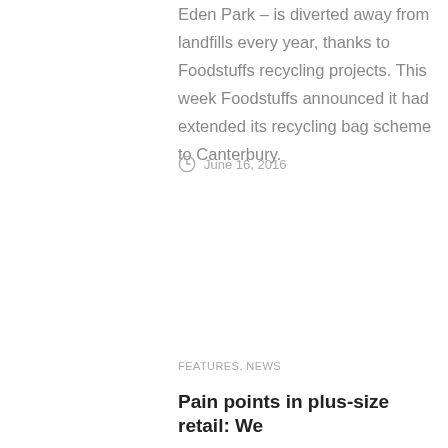Eden Park – is diverted away from landfills every year, thanks to Foodstuffs recycling projects. This week Foodstuffs announced it had extended its recycling bag scheme to Canterbury.
June 16, 2016
FEATURES, NEWS
Pain points in plus-size retail: We